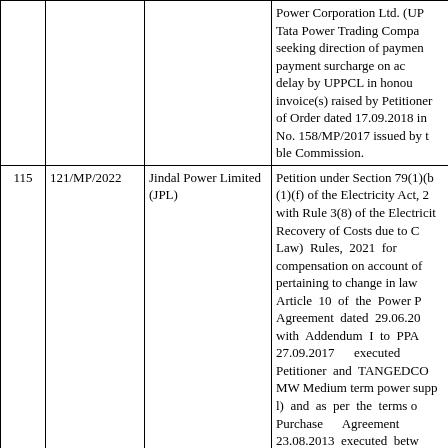| # | Case No. | Party | Description |
| --- | --- | --- | --- |
|  |  |  | Power Corporation Ltd. (UP... Tata Power Trading Compa... seeking direction of paymen... payment surcharge on ac... delay by UPPCL in honou... invoice(s) raised by Petitioner... of Order dated 17.09.2018 in... No. 158/MP/2017 issued by t... ble Commission. |
| 115 | 121/MP/2022 | Jindal Power Limited (JPL) | Petition under Section 79(1)(b... (1)(f) of the Electricity Act, 2... with Rule 3(8) of the Electricit... Recovery of Costs due to C... Law) Rules, 2021 for ... compensation on account of ... pertaining to change in law... Article 10 of the Power P... Agreement dated 29.06.20... with Addendum I to PPA... 27.09.2017 executed ... Petitioner and TANGEDCO... MW Medium term power supp... l) and as per the terms o... Purchase Agreement ... 23.08.2013 executed betw... Petitioner and TANGEDCO... MW long term power supply ( |
| 116 | 12/RP/2022 in 202TT/2022 | North East Transmission Company Ltd. (NETC) | Review Petition under Sectio... of the Electricity Act, 2003 M... Regulation 188 of CERC(0... |